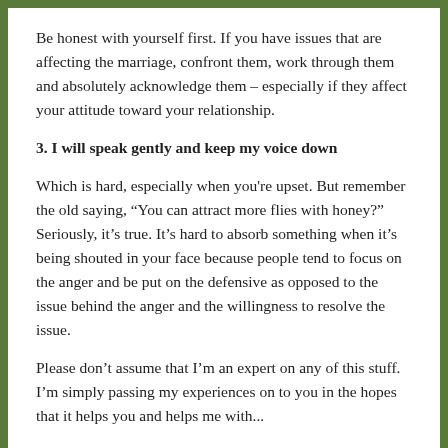Be honest with yourself first. If you have issues that are affecting the marriage, confront them, work through them and absolutely acknowledge them – especially if they affect your attitude toward your relationship.
3. I will speak gently and keep my voice down
Which is hard, especially when you're upset. But remember the old saying, “You can attract more flies with honey?” Seriously, it’s true. It’s hard to absorb something when it’s being shouted in your face because people tend to focus on the anger and be put on the defensive as opposed to the issue behind the anger and the willingness to resolve the issue.
Please don’t assume that I’m an expert on any of this stuff. I’m simply passing my experiences on to you in the hopes that it helps you and helps me with...